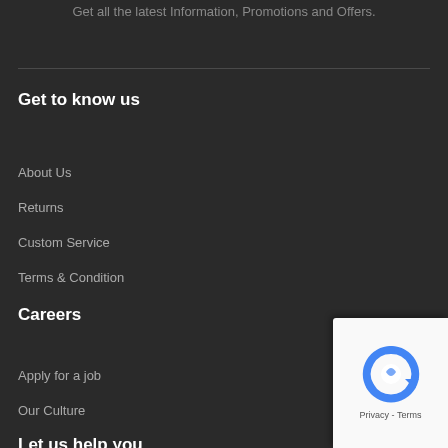Get all the latest Information, Promotions and Offers.
Get to know us
About Us
Returns
Custom Service
Terms & Condition
Careers
Apply for a job
Our Culture
Let us help you
[Figure (other): reCAPTCHA privacy badge with Google logo and Privacy - Terms text]